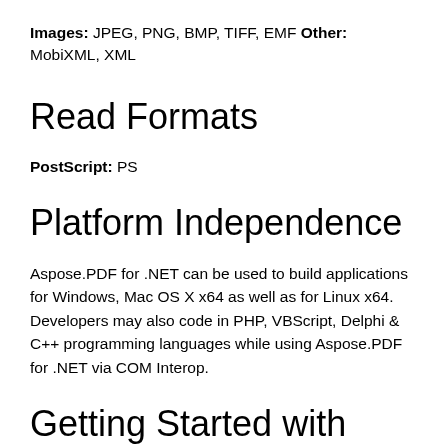Images: JPEG, PNG, BMP, TIFF, EMF Other: MobiXML, XML
Read Formats
PostScript: PS
Platform Independence
Aspose.PDF for .NET can be used to build applications for Windows, Mac OS X x64 as well as for Linux x64. Developers may also code in PHP, VBScript, Delphi & C++ programming languages while using Aspose.PDF for .NET via COM Interop.
Getting Started with